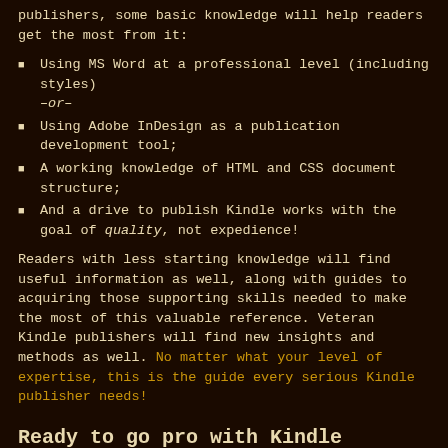publishers, some basic knowledge will help readers get the most from it:
Using MS Word at a professional level (including styles) –or–
Using Adobe InDesign as a publication development tool;
A working knowledge of HTML and CSS document structure;
And a drive to publish Kindle works with the goal of quality, not expedience!
Readers with less starting knowledge will find useful information as well, along with guides to acquiring those supporting skills needed to make the most of this valuable reference. Veteran Kindle publishers will find new insights and methods as well. No matter what your level of expertise, this is the guide every serious Kindle publisher needs!
Ready to go pro with Kindle publishing? Here's your chance!